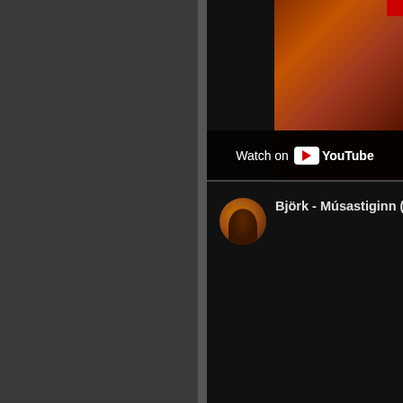[Figure (screenshot): Screenshot of a YouTube embedded video player showing a dark-themed interface. The left portion shows a dark gray sidebar/panel. The right portion shows a video thumbnail at the top with an ornate scene (orangey-red tones suggesting a hookah or decorative object). A 'Watch on YouTube' overlay button appears on the thumbnail. Below the thumbnail is a video info section showing a circular avatar of a person and the video title 'Björk - Músastiginn (' (truncated).]
Watch on YouTube
Björk - Músastiginn (